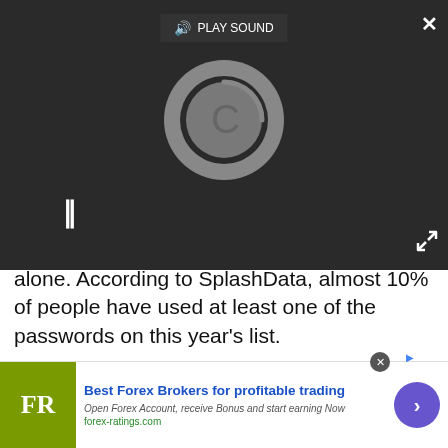[Figure (screenshot): Video player overlay with dark background, PLAY SOUND button at top center, a loading spinner circle, pause icon (||) at bottom left, expand icon at bottom right, and close (X) button at top right]
alone. According to SplashData, almost 10% of people have used at least one of the passwords on this year's list.
[Figure (screenshot): Advertisement placeholder box with light gray background labeled 'Advertisement' at the top]
[Figure (screenshot): Bottom banner ad for forex-ratings.com: FR logo in olive green square, headline 'Best Forex Brokers for profitable trading', subtext 'Open Forex Account, receive Bonus and start earning Now', URL 'forex-ratings.com', purple arrow button on right, close circle and ad icon at top]